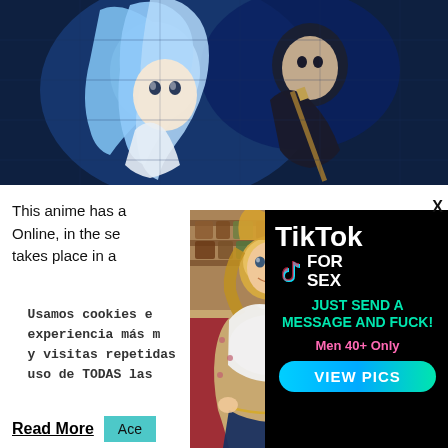[Figure (illustration): Anime screenshot showing two characters — one with long blue hair wearing white, another in dark clothing holding a staff — set against a blue-toned background]
This anime has a... Online, in the se... takes place in a...
Usamos cookies e... experiencia más m... y visitas repetidas... uso de TODAS las...
Read More
Ace...
[Figure (photo): Photo of a blonde woman in a white top and red patterned jacket, smiling, in a restaurant setting]
[Figure (advertisement): TikTok For Sex advertisement on black background. Text reads: TikTok FOR SEX, JUST SEND A MESSAGE AND FUCK!, Men 40+ Only, VIEW PICS button]